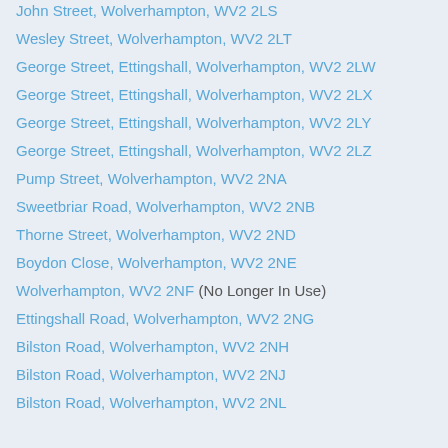John Street, Wolverhampton, WV2 2LS
Wesley Street, Wolverhampton, WV2 2LT
George Street, Ettingshall, Wolverhampton, WV2 2LW
George Street, Ettingshall, Wolverhampton, WV2 2LX
George Street, Ettingshall, Wolverhampton, WV2 2LY
George Street, Ettingshall, Wolverhampton, WV2 2LZ
Pump Street, Wolverhampton, WV2 2NA
Sweetbriar Road, Wolverhampton, WV2 2NB
Thorne Street, Wolverhampton, WV2 2ND
Boydon Close, Wolverhampton, WV2 2NE
Wolverhampton, WV2 2NF (No Longer In Use)
Ettingshall Road, Wolverhampton, WV2 2NG
Bilston Road, Wolverhampton, WV2 2NH
Bilston Road, Wolverhampton, WV2 2NJ
Bilston Road, Wolverhampton, WV2 2NL